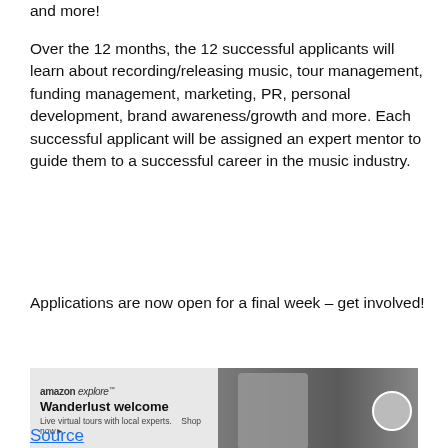and more!
Over the 12 months, the 12 successful applicants will learn about recording/releasing music, tour management, funding management, marketing, PR, personal development, brand awareness/growth and more. Each successful applicant will be assigned an expert mentor to guide them to a successful career in the music industry.
Applications are now open for a final week – get involved!
[Figure (photo): Amazon Explore advertisement banner: 'Wanderlust welcome – Live virtual tours with local experts. Shop now.' with photo of person in street scene and circular avatar.]
Source